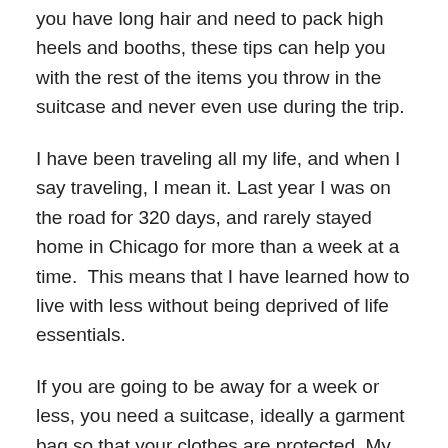you have long hair and need to pack high heels and booths, these tips can help you with the rest of the items you throw in the suitcase and never even use during the trip.
I have been traveling all my life, and when I say traveling, I mean it. Last year I was on the road for 320 days, and rarely stayed home in Chicago for more than a week at a time.  This means that I have learned how to live with less without being deprived of life essentials.
If you are going to be away for a week or less, you need a suitcase, ideally a garment bag so that your clothes are protected. My favorite is the 46” Zurich wheeled garment bag from Swiss Gear. It is affordable and of good quality, plus you can get it at places like Office Max and Target. You can always bring a collapsible bag inside the garment